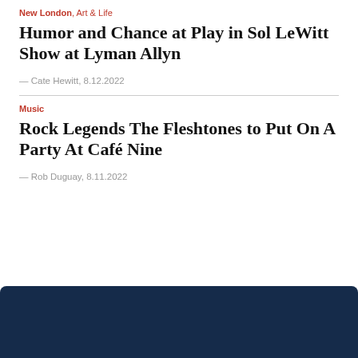New London, Art & Life
Humor and Chance at Play in Sol LeWitt Show at Lyman Allyn
— Cate Hewitt, 8.12.2022
Music
Rock Legends The Fleshtones to Put On A Party At Café Nine
— Rob Duguay, 8.11.2022